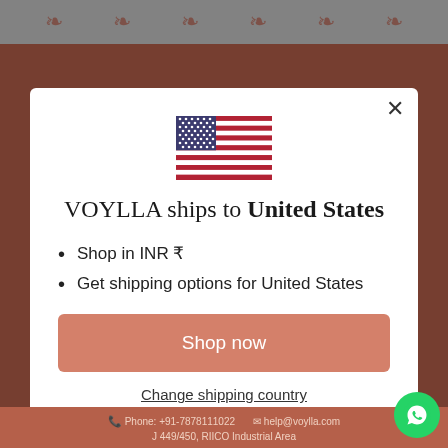[Figure (screenshot): Background website header with lotus decorative icons on gray bar, and brown/terracotta website background]
[Figure (illustration): US flag icon centered in modal]
VOYLLA ships to United States
Shop in INR ₹
Get shipping options for United States
Shop now
Change shipping country
Phone: +91-7878111022   help@voylla.com   J 449/450, RIICO Industrial Area